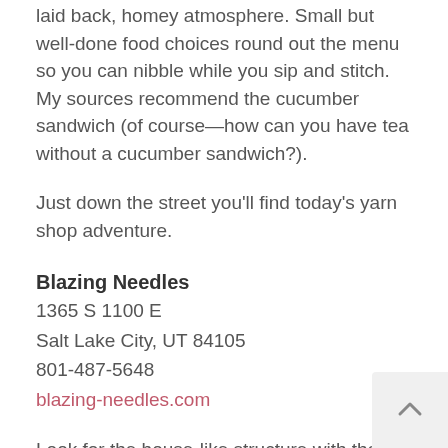laid back, homey atmosphere. Small but well-done food choices round out the menu so you can nibble while you sip and stitch. My sources recommend the cucumber sandwich (of course—how can you have tea without a cucumber sandwich?).
Just down the street you'll find today's yarn shop adventure.
Blazing Needles
1365 S 1100 E
Salt Lake City, UT 84105
801-487-5648
blazing-needles.com
Look for the house-like structure with the large